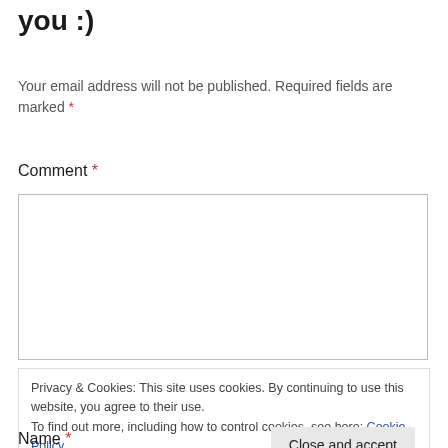you :)
Your email address will not be published. Required fields are marked *
Comment *
[Figure (other): Empty comment textarea input box with border]
Privacy & Cookies: This site uses cookies. By continuing to use this website, you agree to their use.
To find out more, including how to control cookies, see here: Cookie Policy
Close and accept
Name *